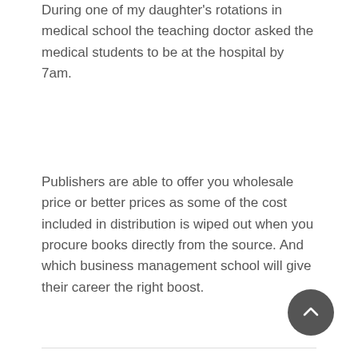During one of my daughter's rotations in medical school the teaching doctor asked the medical students to be at the hospital by 7am.
Publishers are able to offer you wholesale price or better prices as some of the cost included in distribution is wiped out when you procure books directly from the source. And which business management school will give their career the right boost.
frank
June 16, 2013 at 10:59 PM
I cube my aloe and add it into fruit salad (mu and all) use any fruit you want then bring 1/2 cup